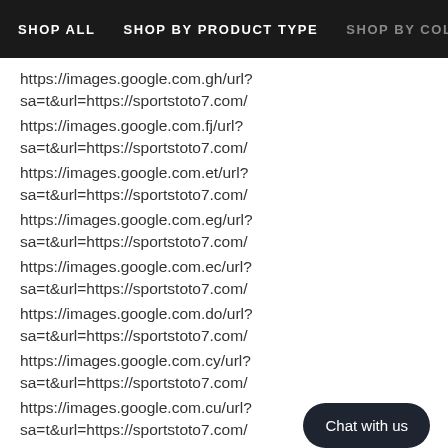SHOP ALL   SHOP BY PRODUCT TYPE   SHOP BY COL
https://images.google.com.gh/url?sa=t&url=https://sportstoto7.com/
https://images.google.com.fj/url?sa=t&url=https://sportstoto7.com/
https://images.google.com.et/url?sa=t&url=https://sportstoto7.com/
https://images.google.com.eg/url?sa=t&url=https://sportstoto7.com/
https://images.google.com.ec/url?sa=t&url=https://sportstoto7.com/
https://images.google.com.do/url?sa=t&url=https://sportstoto7.com/
https://images.google.com.cy/url?sa=t&url=https://sportstoto7.com/
https://images.google.com.cu/url?sa=t&url=https://sportstoto7.com/
Chat with us